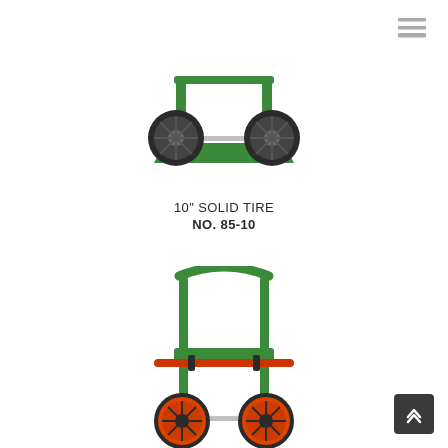[Figure (photo): Green metal cart with two solid rubber tires and a flat base platform, viewed from a low angle front-left perspective]
10" SOLID TIRE
NO. 85-10
[Figure (photo): Green metal two-wheel cart with upright handle frame, a shelf tray, and two orange/green pneumatic-style wheels, viewed from a three-quarter front perspective]